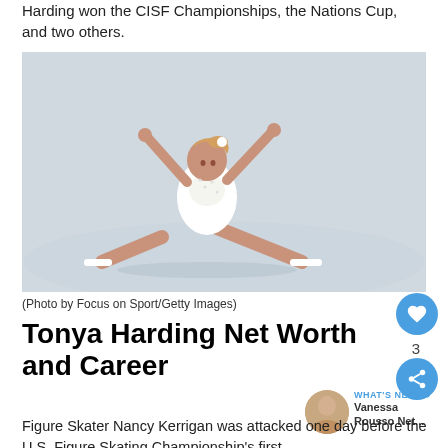Harding won the CISF Championships, the Nations Cup, and two others.
[Figure (photo): Tonya Harding in a white figure skating dress performing a dramatic split pose on ice, arms raised, at a skating competition.]
(Photo by Focus on Sport/Getty Images)
Tonya Harding Net Worth and Career
Figure Skater Nancy Kerrigan was attacked one day before the U.S. Figure Skating Championship's first